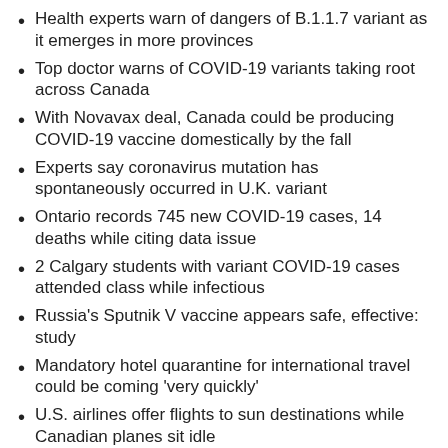Health experts warn of dangers of B.1.1.7 variant as it emerges in more provinces
Top doctor warns of COVID-19 variants taking root across Canada
With Novavax deal, Canada could be producing COVID-19 vaccine domestically by the fall
Experts say coronavirus mutation has spontaneously occurred in U.K. variant
Ontario records 745 new COVID-19 cases, 14 deaths while citing data issue
2 Calgary students with variant COVID-19 cases attended class while infectious
Russia's Sputnik V vaccine appears safe, effective: study
Mandatory hotel quarantine for international travel could be coming 'very quickly'
U.S. airlines offer flights to sun destinations while Canadian planes sit idle
Costs, skepticism, red tape: What's stalling vaccine progress around the world?